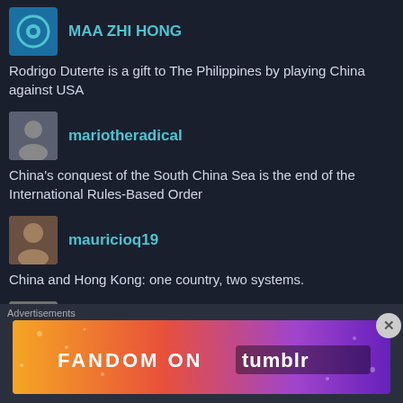MAA ZHI HONG
Rodrigo Duterte is a gift to The Philippines by playing China against USA
mariotheradical
China's conquest of the South China Sea is the end of the International Rules-Based Order
mauricioq19
China and Hong Kong: one country, two systems.
Michael B. Calyn
China loses out as Canada joins US in halting oil pipeline construction
mjamalahmed
Will China be able to win over Europe?
Advertisements
[Figure (other): Fandom on Tumblr advertisement banner with colorful gradient background]